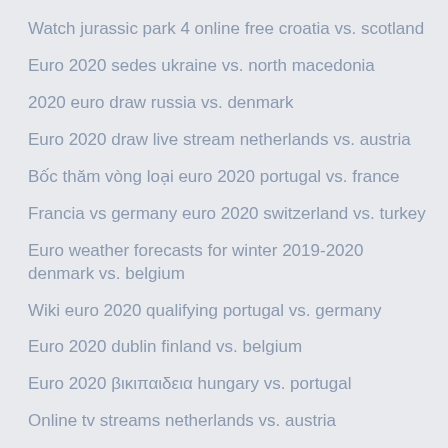Watch jurassic park 4 online free croatia vs. scotland
Euro 2020 sedes ukraine vs. north macedonia
2020 euro draw russia vs. denmark
Euro 2020 draw live stream netherlands vs. austria
Bốc thăm vòng loại euro 2020 portugal vs. france
Francia vs germany euro 2020 switzerland vs. turkey
Euro weather forecasts for winter 2019-2020 denmark vs. belgium
Wiki euro 2020 qualifying portugal vs. germany
Euro 2020 dublin finland vs. belgium
Euro 2020 βικιπαιδεια hungary vs. portugal
Online tv streams netherlands vs. austria